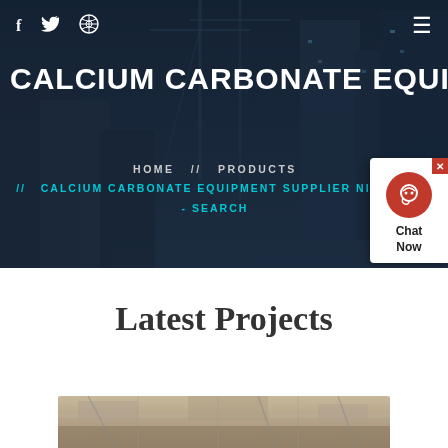[Figure (photo): Hero background: dark blue-grey city construction scene with cranes and tall buildings under construction at dusk]
f  twitter  dribbble  ≡
CALCIUM CARBONATE EQUIPME…
HOME  //  PRODUCTS  //  CALCIUM CARBONATE EQUIPMENT SUPPLIER NIGERIA - SEARCH
[Figure (screenshot): Chat widget with red circular headset icon and 'Chat Now' text on white background]
Latest Projects
[Figure (photo): Industrial construction interior photo showing scaffolding and structural elements]